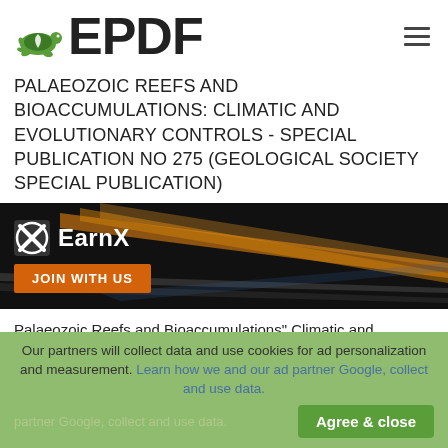ePDF
PALAEOZOIC REEFS AND BIOACCUMULATIONS: CLIMATIC AND EVOLUTIONARY CONTROLS - SPECIAL PUBLICATION NO 275 (GEOLOGICAL SOCIETY SPECIAL PUBLICATION)
[Figure (other): EarnX advertisement banner with dark background and orange light streaks. Shows EarnX logo and 'JOIN WITH US' button in orange.]
Palaeozoic Reefs and Bioaccumulations" Climatic and Evolutionary Controls The Geological Society of L o n d o n Book...
Our partners will collect data and use cookies for ad personalization and measurement. Learn how we and our ad partner Google, collect and use data.
Agree & close